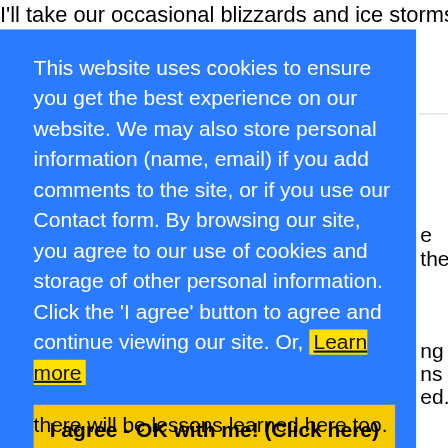I'll take our occasional blizzards and ice storms AN da
This website uses cookies to ensure you get the best experience on our website. We may also store personal information (name, email) if you add comments to the site, or if you use our Contact form. By browsing our site, you agree to our use of cookies and storage of other personal information. Click the 'I agree' button to agree and continue viewing our site. Or, Learn more
I agree - OK with me! (Click here)
e them
ng and
ns learned
ed.) I'm s
there will be lessons learned here too.
n